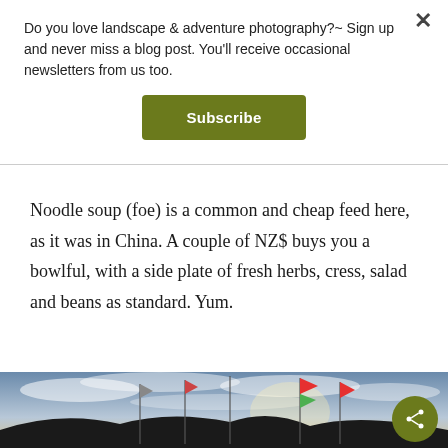Do you love landscape & adventure photography?~ Sign up and never miss a blog post. You'll receive occasional newsletters from us too.
Subscribe
Noodle soup (foe) is a common and cheap feed here, as it was in China. A couple of NZ$ buys you a bowlful, with a side plate of fresh herbs, cress, salad and beans as standard. Yum.
[Figure (photo): Outdoor scenic photo showing flags on tall poles against a dramatic cloudy sky at dusk or dawn, with hills silhouetted in the background.]